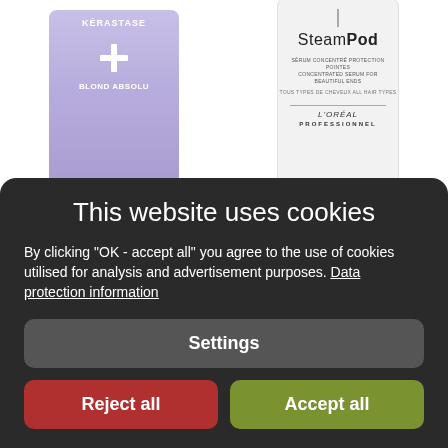[Figure (photo): Two hair care product bottles — a purple Kérastase bottle on the left and a white L'Oréal SteamPod serum bottle on the right — shown on a white background, partially cropped at top.]
This website uses cookies
By clicking "OK - accept all" you agree to the use of cookies utilised for analysis and advertisement purposes. Data protection information
Settings
Reject all
Accept all